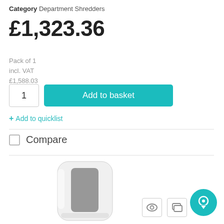Category Department Shredders
£1,323.36
Pack of 1
incl. VAT
£1,588.03
1  Add to basket
+ Add to quicklist
Compare
[Figure (photo): White department paper shredder with grey window panel, standing upright on a white background.]